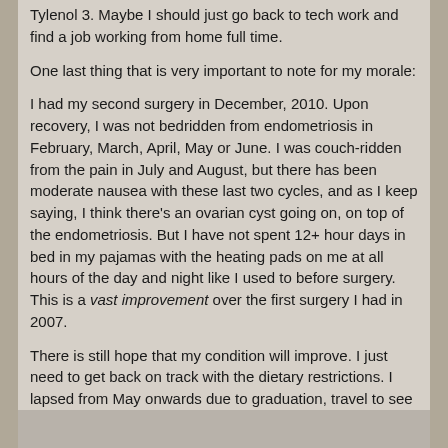Tylenol 3. Maybe I should just go back to tech work and find a job working from home full time.
One last thing that is very important to note for my morale:
I had my second surgery in December, 2010. Upon recovery, I was not bedridden from endometriosis in February, March, April, May or June. I was couch-ridden from the pain in July and August, but there has been moderate nausea with these last two cycles, and as I keep saying, I think there’s an ovarian cyst going on, on top of the endometriosis. But I have not spent 12+ hour days in bed in my pajamas with the heating pads on me at all hours of the day and night like I used to before surgery. This is a vast improvement over the first surgery I had in 2007.
There is still hope that my condition will improve. I just need to get back on track with the dietary restrictions. I lapsed from May onwards due to graduation, travel to see family, and general summertime fun. I need to cut sugar and alcohol again. It will be difficult. I will cry again. I will wail and gnash teeth over it like I did last time, but I’m doing this to further the benefit of surgery.